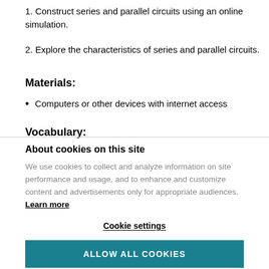1. Construct series and parallel circuits using an online simulation.
2. Explore the characteristics of series and parallel circuits.
Materials:
Computers or other devices with internet access
Vocabulary:
About cookies on this site
We use cookies to collect and analyze information on site performance and usage, and to enhance and customize content and advertisements only for appropriate audiences. Learn more
Cookie settings
ALLOW ALL COOKIES